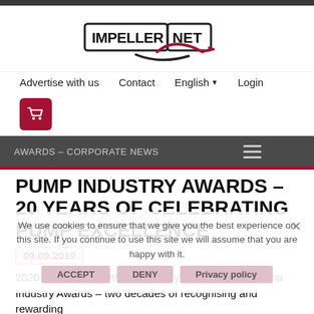[Figure (logo): ImpellerNet logo: rectangular box with IMPELLER text, NET text, and a swirling impeller graphic with arrow]
Advertise with us   Contact   English   Login
[Figure (other): Shopping cart icon in dark red/maroon rounded square]
AWARDS – CORPORATE NEWS
PUMP INDUSTRY AWARDS – 20 YEARS OF CELEBRATING PUMP EXCELLENCE
09.09.2019
2020 heralds the 20th anniversary of the BPMA s Pump Industry Awards – two decades of recognising and rewarding
We use cookies to ensure that we give you the best experience on this site. If you continue to use this site we will assume that you are happy with it.